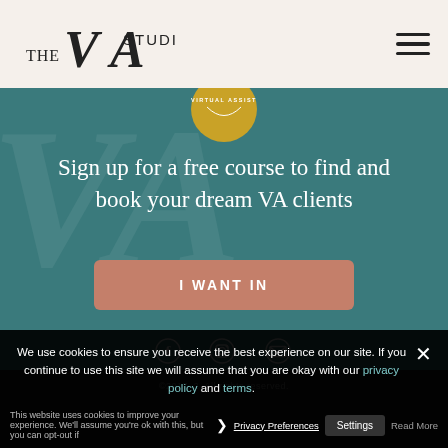[Figure (logo): The VA Studio logo with stylized 'VA' letterform and text]
[Figure (screenshot): Teal hero section with watermark VA letters, gold badge circle at top, headline text, call-to-action button, and social icons]
Sign up for a free course to find and book your dream VA clients
I WANT IN
[Figure (infographic): Social media icons: Facebook, Instagram, email envelope]
We use cookies to ensure you receive the best experience on our site. If you continue to use this site we will assume that you are okay with our privacy policy and terms.
©2017–2 ... erved.
This website uses cookies to improve your experience. We'll assume you're ok with this, but you can opt-out if
Privacy Preferences   Settings   Read More